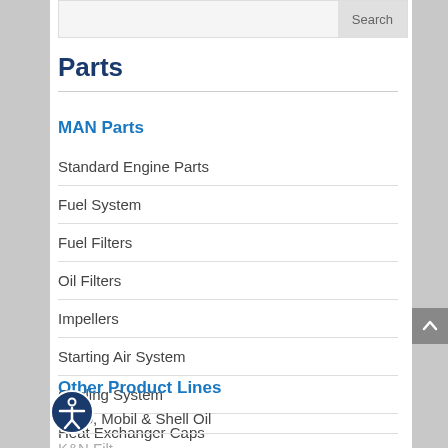Search
Parts
MAN Parts
Standard Engine Parts
Fuel System
Fuel Filters
Oil Filters
Impellers
Starting Air System
Cooling System
Heat Exchanger Caps
Other Product Lines
Citgo, Mobil & Shell Oil
K&N Filt…